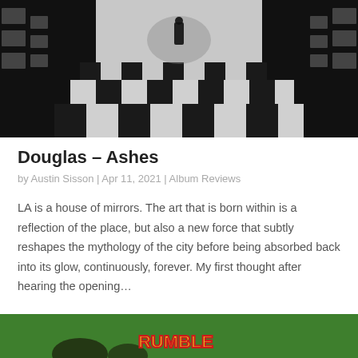[Figure (photo): Black and white photo of a hallway or corridor with a checkered floor pattern and a lone figure in the distance, creating a symmetrical perspective]
Douglas – Ashes
by Austin Sisson | Apr 11, 2021 | Album Reviews
LA is a house of mirrors. The art that is born within is a reflection of the place, but also a new force that subtly reshapes the mythology of the city before being absorbed back into its glow, continuously, forever. My first thought after hearing the opening…
[Figure (photo): Partial image of an album cover showing green grass background with colorful text/logo at the bottom]